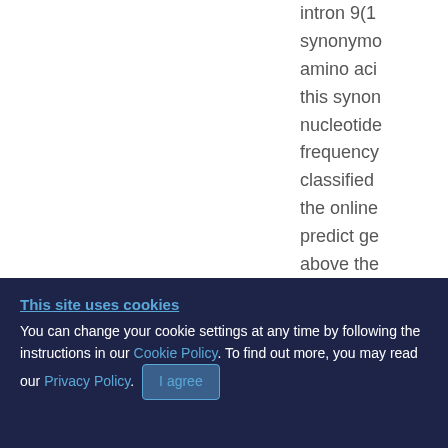intron 9(1
synonymo
amino aci
this synon
nucleotide
frequency
classified
the online
predict ge
above the
the ACMG
consisten
low freque
Exome Ag
This site uses cookies
You can change your cookie settings at any time by following the instructions in our Cookie Policy. To find out more, you may read our Privacy Policy.